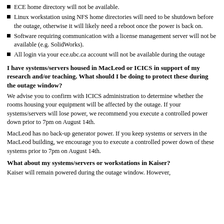ECE home directory will not be available.
Linux workstation using NFS home directories will need to be shutdown before the outage, otherwise it will likely need a reboot once the power is back on.
Software requiring communication with a license management server will not be available (e.g. SolidWorks).
All login via your ece.ubc.ca account will not be available during the outage
I have systems/servers housed in MacLeod or ICICS in support of my research and/or teaching. What should I be doing to protect these during the outage window?
We advise you to confirm with ICICS administration to determine whether the rooms housing your equipment will be affected by the outage. If your systems/servers will lose power, we recommend you execute a controlled power down prior to 7pm on August 14th.
MacLeod has no back-up generator power. If you keep systems or servers in the MacLeod building, we encourage you to execute a controlled power down of these systems prior to 7pm on August 14th.
What about my systems/servers or workstations in Kaiser?
Kaiser will remain powered during the outage window. However,